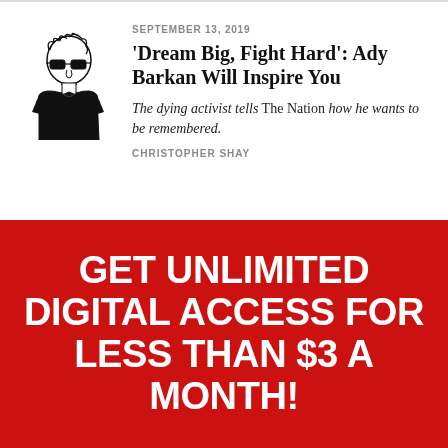[Figure (illustration): Black and white line drawing illustration of a person with curly hair wearing sunglasses and a black t-shirt]
SEPTEMBER 13, 2019
'Dream Big, Fight Hard': Ady Barkan Will Inspire You
The dying activist tells The Nation how he wants to be remembered.
CHRISTOPHER SHAY
GET UNLIMITED DIGITAL ACCESS FOR LESS THAN $3 A MONTH!